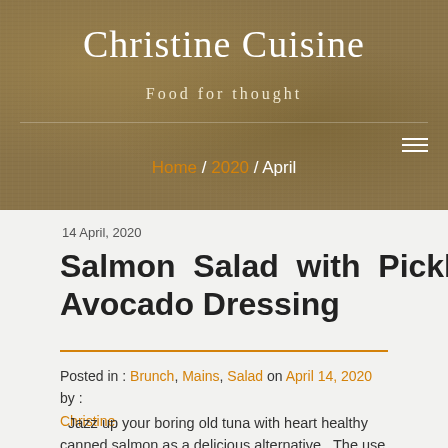Christine Cuisine
Food for thought
Home / 2020 / April
14 April, 2020
Salmon Salad with Pickled Avocado Dressing
Posted in : Brunch, Mains, Salad on April 14, 2020 by : Christine
Jazz up your boring old tuna with heart healthy canned salmon as a delicious alternative. The use of pickled avocado